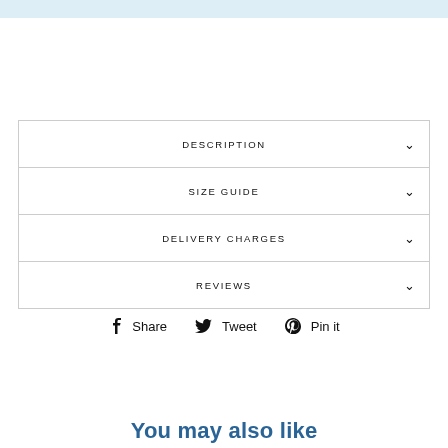DESCRIPTION
SIZE GUIDE
DELIVERY CHARGES
REVIEWS
Share   Tweet   Pin it
You may also like